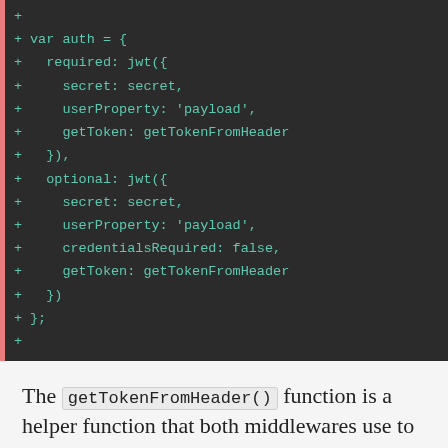[Figure (screenshot): Code diff block on dark background showing JavaScript code adding a var auth object with required and optional JWT middleware configurations using getTokenFromHeader]
The getTokenFromHeader() function is a helper function that both middlewares use to extract the JWT